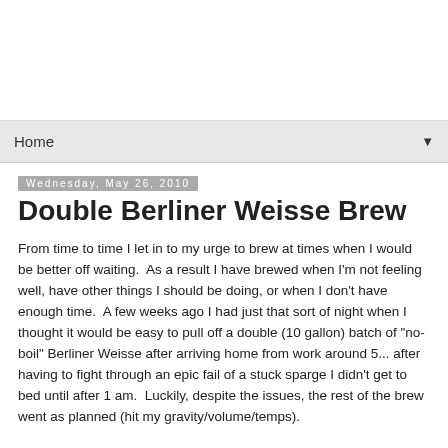Home
Wednesday, May 26, 2010
Double Berliner Weisse Brew
From time to time I let in to my urge to brew at times when I would be better off waiting.  As a result I have brewed when I'm not feeling well, have other things I should be doing, or when I don't have enough time.  A few weeks ago I had just that sort of night when I thought it would be easy to pull off a double (10 gallon) batch of "no-boil" Berliner Weisse after arriving home from work around 5... after having to fight through an epic fail of a stuck sparge I didn't get to bed until after 1 am.  Luckily, despite the issues, the rest of the brew went as planned (hit my gravity/volume/temps).